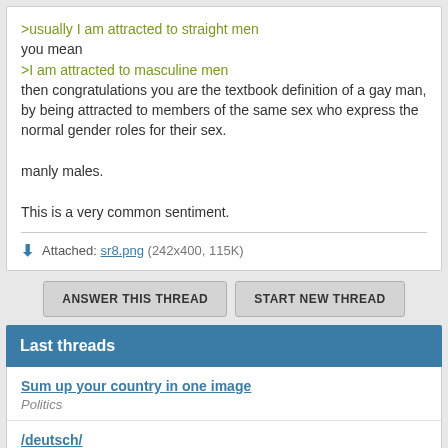>usually I am attracted to straight men
you mean
>I am attracted to masculine men
then congratulations you are the textbook definition of a gay man, by being attracted to members of the same sex who express the normal gender roles for their sex.

manly males.

This is a very common sentiment.
Attached: sr8.png (242x400, 115K)
ANSWER THIS THREAD   START NEW THREAD
Last threads
Sum up your country in one image
Politics
/deutsch/